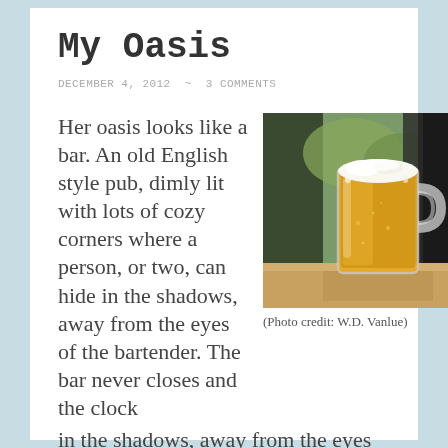My Oasis
DECEMBER 4, 2012  ~  3 COMMENTS
Her oasis looks like a bar. An old English style pub, dimly lit with lots of cozy corners where a person, or two, can hide in the shadows, away from the eyes of the bartender. The bar never closes and the clock
[Figure (photo): A glass beer mug filled with golden beer and foam on top, sitting on a wooden surface, with a blurred window background]
(Photo credit: W.D. Vanlue)